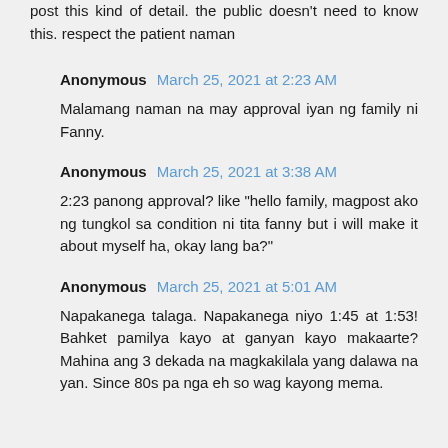post this kind of detail. the public doesn't need to know this. respect the patient naman
Anonymous March 25, 2021 at 2:23 AM
Malamang naman na may approval iyan ng family ni Fanny.
Anonymous March 25, 2021 at 3:38 AM
2:23 panong approval? like "hello family, magpost ako ng tungkol sa condition ni tita fanny but i will make it about myself ha, okay lang ba?"
Anonymous March 25, 2021 at 5:01 AM
Napakanega talaga. Napakanega niyo 1:45 at 1:53! Bahket pamilya kayo at ganyan kayo makaarte? Mahina ang 3 dekada na magkakilala yang dalawa na yan. Since 80s pa nga eh so wag kayong mema.